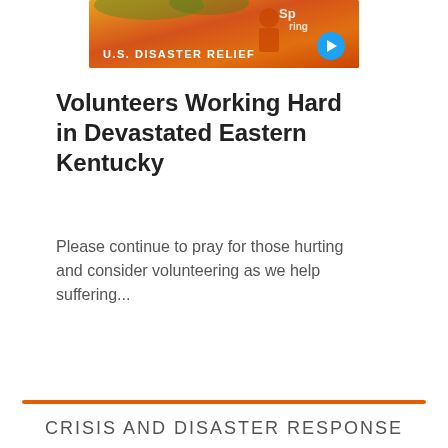[Figure (photo): Orange banner image with 'U.S. DISASTER RELIEF' text and a blue play button, showing disaster relief imagery]
Volunteers Working Hard in Devastated Eastern Kentucky
Please continue to pray for those hurting and consider volunteering as we help suffering...
CRISIS AND DISASTER RESPONSE
When victims of war, poverty, disasters, disease, and famine cry out for help, Samaritan's Purse is often the first to answer. We specialize in meeting critical needs in the world's most troubled regions, often working through ministry partners already on the